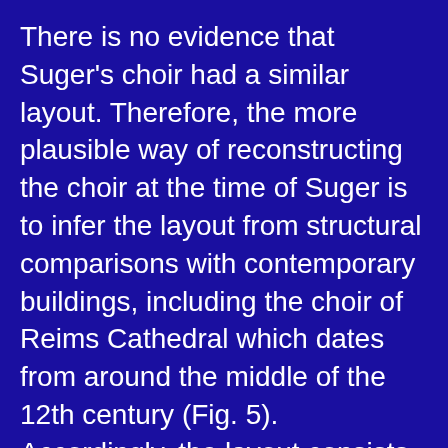There is no evidence that Suger's choir had a similar layout. Therefore, the more plausible way of reconstructing the choir at the time of Suger is to infer the layout from structural comparisons with contemporary buildings, including the choir of Reims Cathedral which dates from around the middle of the 12th century (Fig. 5). Accordingly, the layout consists of a single ambulatory and apse chapels without free-standing columns along the semicircular ambulatory.
If there had been a double ambulatory in Saint-Denis, similar double ambulatories would surely have appeared in other buildings built immediately after, but this is not the case.